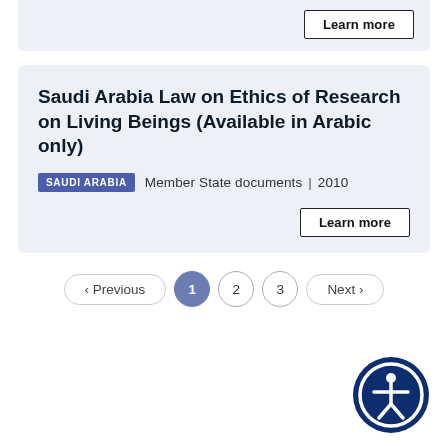Learn more
Saudi Arabia Law on Ethics of Research on Living Beings (Available in Arabic only)
SAUDI ARABIA   Member State documents | 2010
Learn more
< Previous   1   2   3   Next >